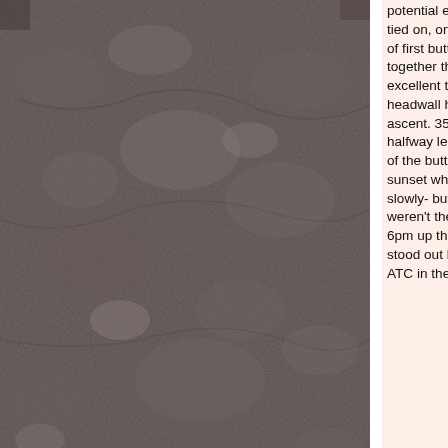[Figure (photo): Rock face texture photograph showing a rough grey-brown stone surface, spanning the left portion of the page with a white vertical strip and thin dividing line to the right.]
potential escape route. Now we're doing the Bunny 140pm tied on, on rock at last. Swing leads on the first pitches; top of first buttress about 320. Need to move fast so we roped together through the 2 x grade 8 pitches using Mike's excellent track markers. Decided if we could both get to the headwall halfway ledge by 430 it was definitely a no stress ascent. 355 start the first headwall pitch. Both on the halfway ledge 440; Richard then did the 'doubler'; to the top of the buttress using the headtorch to set up belay. Beautiful sunset while he went up. I followed in darkness-took it slowly- but that was ok cause I couldn't see the holds that weren't there.
6pm up the chimney. Golly those shiny carrot heads really stood out like cats eyes thanks Mike! Richard dropped his ATC in the dark, not to worry we didn't need it aga